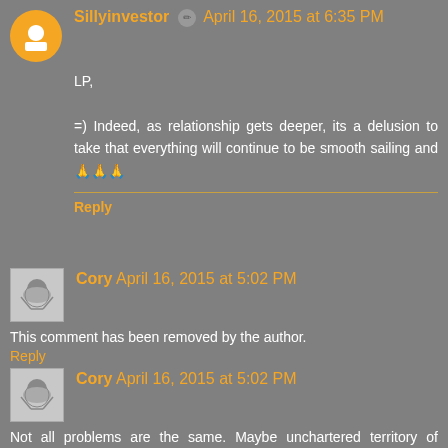Sillyinvestor ✏ April 16, 2015 at 6:35 PM
LP,

=) Indeed, as relationship gets deeper, its a delusion to take that everything will continue to be smooth sailing and 🙏🙏🙏
Reply
Cory April 16, 2015 at 5:02 PM
This comment has been removed by the author.
Reply
Cory April 16, 2015 at 5:02 PM
Not all problems are the same. Maybe unchartered territory of stepping up gives you the insecure feeling even though you know you can do it if you focus on it. Is part of higher learning ?